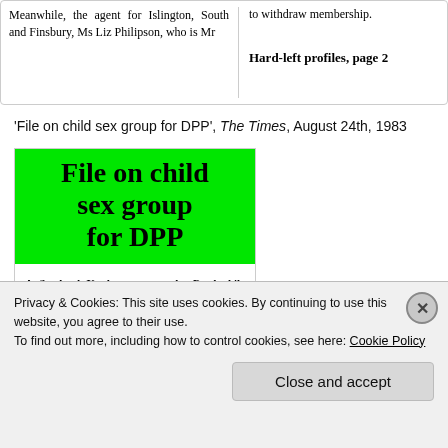[Figure (screenshot): Newspaper clipping showing partial article text about Islington South and Finsbury, Ms Liz Philipson, with right column text 'to withdraw membership. Hard-left profiles, page 2']
'File on child sex group for DPP', The Times, August 24th, 1983
[Figure (screenshot): Newspaper article image with bright green highlighted headline 'File on child sex group for DPP' and article body text about a Scotland Yard report on the Paedophile Information Exchange (PIE)]
Privacy & Cookies: This site uses cookies. By continuing to use this website, you agree to their use. To find out more, including how to control cookies, see here: Cookie Policy
Close and accept